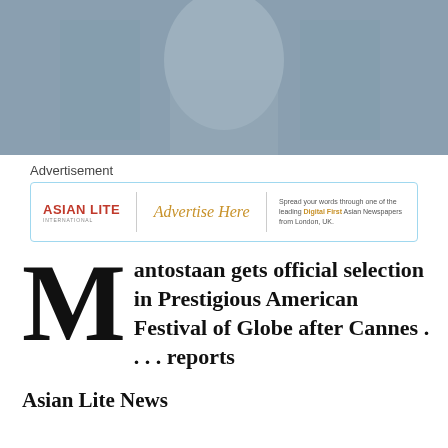[Figure (photo): Grayscale photo of a person or scene, partially visible at top of page]
Advertisement
[Figure (other): Asian Lite International advertisement banner with 'Advertise Here' text and tagline: Spread your words through one of the leading Digital First Asian Newspapers from London, UK.]
Mantostaan gets official selection in Prestigious American Festival of Globe after Cannes . . . . reports Asian Lite News